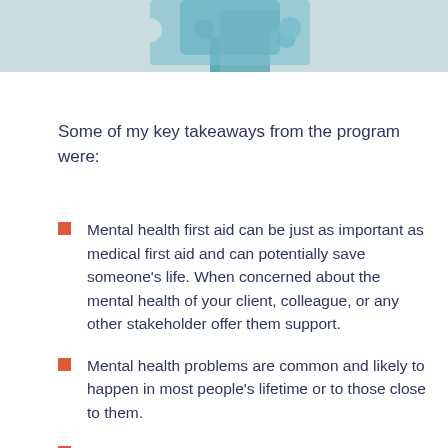[Figure (photo): Partial view of a light blue puzzle piece on a light beige/green background, cropped at top]
Some of my key takeaways from the program were:
Mental health first aid can be just as important as medical first aid and can potentially save someone's life. When concerned about the mental health of your client, colleague, or any other stakeholder offer them support.
Mental health problems are common and likely to happen in most people's lifetime or to those close to them.
Signs and symptoms that someone may be...